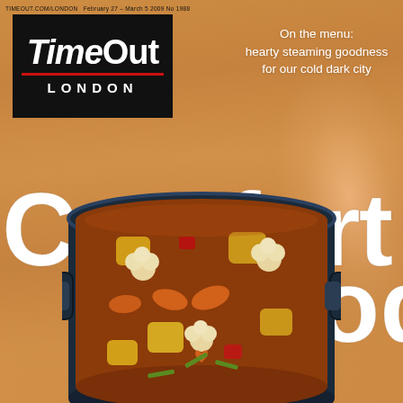TIMEOUT.COM/LONDON February 27 – March 5 2009 No 1988
[Figure (logo): Time Out London logo: white bold italic text 'TimeOut' on black background with red horizontal line beneath, and 'LONDON' in white spaced capitals below]
On the menu: hearty steaming goodness for our cold dark city
Comfort food
[Figure (photo): Blue cast iron casserole pot filled with hearty stew containing vegetables including potato chunks, carrots, cauliflower florets, green beans, red peppers, and a heart-shaped carrot piece in the centre, in a rich brown gravy]